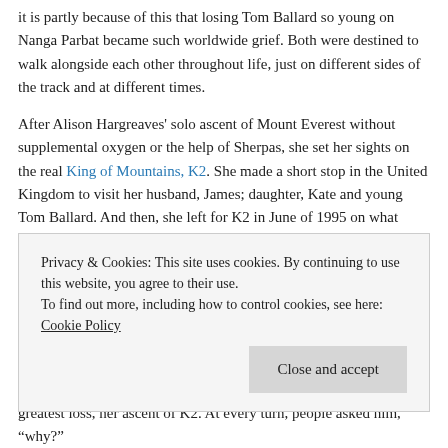it is partly because of this that losing Tom Ballard so young on Nanga Parbat became such worldwide grief. Both were destined to walk alongside each other throughout life, just on different sides of the track and at different times.
After Alison Hargreaves' solo ascent of Mount Everest without supplemental oxygen or the help of Sherpas, she set her sights on the real King of Mountains, K2. She made a short stop in the United Kingdom to visit her husband, James; daughter, Kate and young Tom Ballard. And then, she left for K2 in June of 1995 on what would be her last expedition.
During this expedition, Hargreaves succeeded in making it to the summit along with five other climbers. On the descent, the weather ravaged and swept over the mountain, taking the life of Alison Hargreaves with it. She was just 33 years old. All five climbers who summited after her also
Privacy & Cookies: This site uses cookies. By continuing to use this website, you agree to their use.
To find out more, including how to control cookies, see here: Cookie Policy
Close and accept
greatest loss, her ascent of K2. At every turn, people asked him, "why?"